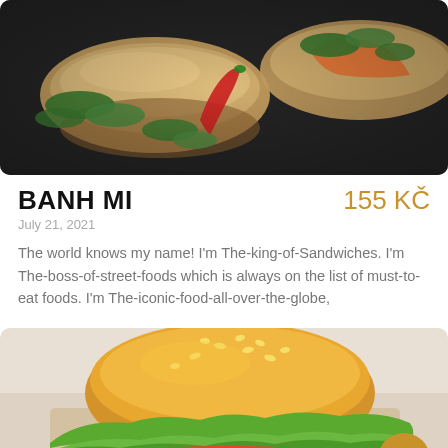[Figure (photo): Overhead view of two banh mi sandwiches on a dark surface with herbs, lettuce, carrots, and a red chili pepper]
BANH MI
155 KČ
July 21, 2021
The world knows my name! I'm The-king-of-Sandwiches. I'm The-boss-of-street-foods which is always on the list of must-to-eat foods. I'm The-iconic-food-all-over-the-globe,
[Figure (photo): A burger with sesame bun, lettuce, tomato, and other fillings on a wooden surface]